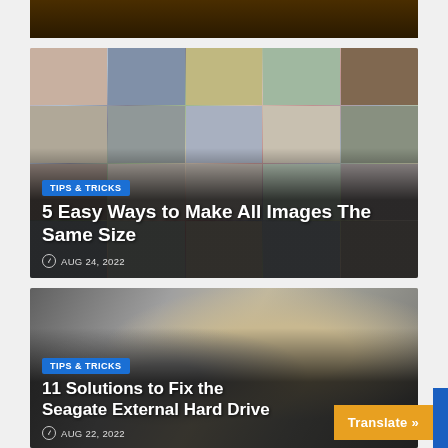[Figure (photo): Partial view of a dark brown/golden decorative image, cropped at top]
[Figure (photo): Collage of diverse people faces/portraits used as article thumbnail]
TIPS & TRICKS
5 Easy Ways to Make All Images The Same Size
AUG 24, 2022
[Figure (photo): Close-up photo of an open hard drive (HDD) showing internal components]
TIPS & TRICKS
11 Solutions to Fix the Seagate External Hard Drive
AUG 22, 2022